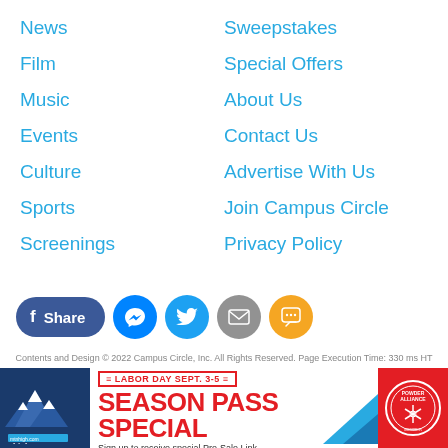News
Sweepstakes
Film
Special Offers
Music
About Us
Events
Contact Us
Culture
Advertise With Us
Sports
Join Campus Circle
Screenings
Privacy Policy
[Figure (infographic): Social sharing buttons: Facebook Share, Messenger, Twitter, Email, SMS]
Contents and Design © 2022 Campus Circle, Inc. All Rights Reserved.  Page Execution Time: 330 ms  HT Server
[Figure (infographic): Mountain High advertisement banner: LABOR DAY SEPT. 3-5 SEASON PASS SPECIAL - Sign up to receive special Pre-Sale Link. Powder Alliance logo on red background.]